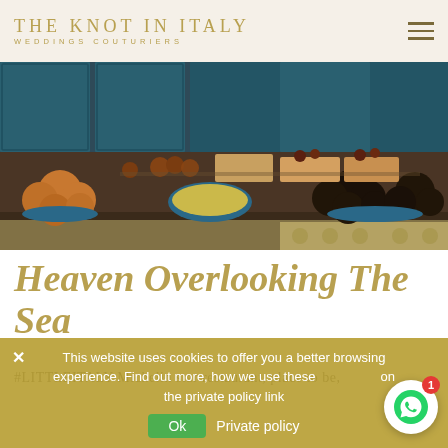THE KNOT IN ITALY WEDDINGS COUTURIERS
[Figure (photo): Buffet table with blue cabinetry and various desserts and pastries arranged on platters, viewed from the side in a restaurant setting.]
Heaven overlooking the sea
#LITTLEITALY Michelin star restaurant, place to be,
This website uses cookies to offer you a better browsing experience. Find out more, how we use these on the private policy link